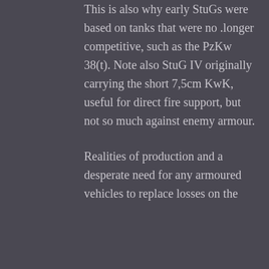This is also why early StuGs were based on tanks that were no longer competitive, such as the PzKw 38(t). Note also StuG IV originally carrying the short 7,5cm KwK, useful for direct fire support, but not so much against enemy armour.
Realities of production and a desperate need for any armoured vehicles to replace losses on the